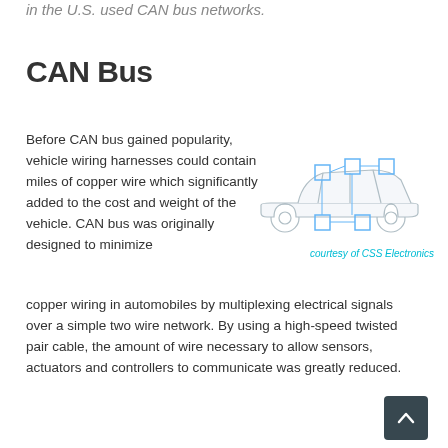in the U.S. used CAN bus networks.
CAN Bus
[Figure (schematic): Side-view illustration of a car with CAN bus network nodes shown as squares connected by lines overlaid on the vehicle body]
courtesy of CSS Electronics
Before CAN bus gained popularity, vehicle wiring harnesses could contain miles of copper wire which significantly added to the cost and weight of the vehicle. CAN bus was originally designed to minimize copper wiring in automobiles by multiplexing electrical signals over a simple two wire network. By using a high-speed twisted pair cable, the amount of wire necessary to allow sensors, actuators and controllers to communicate was greatly reduced.